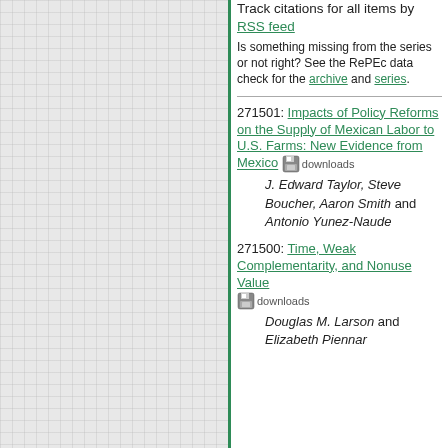Track citations for all items by RSS feed
Is something missing from the series or not right? See the RePEc data check for the archive and series.
271501: Impacts of Policy Reforms on the Supply of Mexican Labor to U.S. Farms: New Evidence from Mexico [downloads]
J. Edward Taylor, Steve Boucher, Aaron Smith and Antonio Yunez-Naude
271500: Time, Weak Complementarity, and Nonuse Value [downloads]
Douglas M. Larson and Elizabeth Piennar